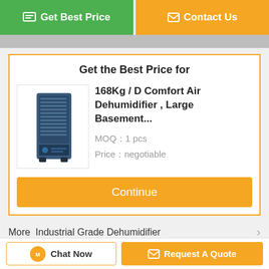[Figure (screenshot): Get Best Price button (green) and Contact Us button (orange) at the top of the page]
Get the Best Price for
[Figure (photo): Industrial air dehumidifier unit, dark blue/gray, tall upright cabinet style]
168Kg / D Comfort Air Dehumidifier , Large Basement...
MOQ：1 pcs
Price：negotiable
Continue
More  Industrial Grade Dehumidifier
[Figure (photo): Dark gray industrial dehumidifier unit]
[Figure (photo): Large beige/cream industrial dehumidifier with multiple front vents]
[Figure (photo): White compact dehumidifier unit]
Super Quiet...
360Kg / D...
Self Defrosting...
Chat Now
Request A Quote